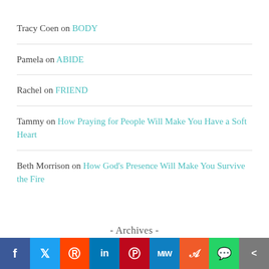Tracy Coen on BODY
Pamela on ABIDE
Rachel on FRIEND
Tammy on How Praying for People Will Make You Have a Soft Heart
Beth Morrison on How God's Presence Will Make You Survive the Fire
- Archives -